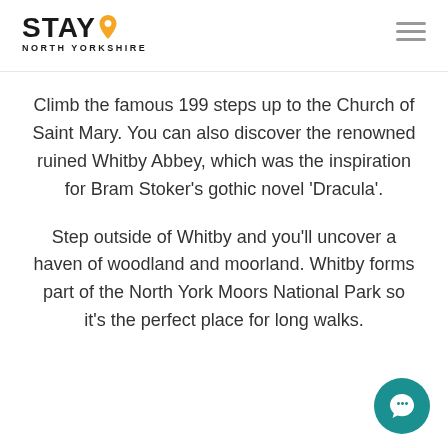STAY North Yorkshire
Climb the famous 199 steps up to the Church of Saint Mary. You can also discover the renowned ruined Whitby Abbey, which was the inspiration for Bram Stoker's gothic novel 'Dracula'.
Step outside of Whitby and you'll uncover a haven of woodland and moorland. Whitby forms part of the North York Moors National Park so it's the perfect place for long walks.